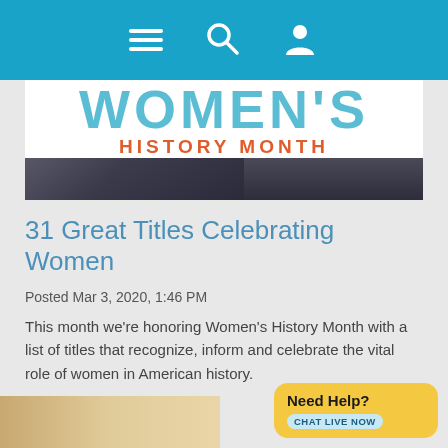Navigation bar with menu, search, and user icons
[Figure (illustration): Women's History Month banner with large teal 'WOMEN'S' letters and orange 'HISTORY MONTH' text on dark background with historical photo]
31 Great Titles Celebrating Women
Posted Mar 3, 2020, 1:46 PM
This month we're honoring Women's History Month with a list of titles that recognize, inform and celebrate the vital role of women in American history.
READ MORE
[Figure (illustration): Need Help? Chat Live Now bubble in yellow, bottom right corner]
[Figure (photo): Partial view of a book cover or image strip at the bottom left]